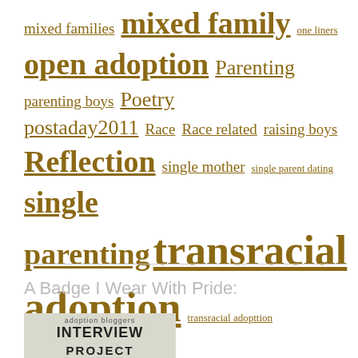mixed families mixed family one liners open adoption Parenting parenting boys Poetry postaday2011 Race Race related raising boys Reflection single mother single parent dating single parenting transracial adoption transracial adopttion Transracial Family transracial parenting
A Badge I Wear With Pride:
[Figure (other): Adoption Bloggers Interview Project badge/logo image]